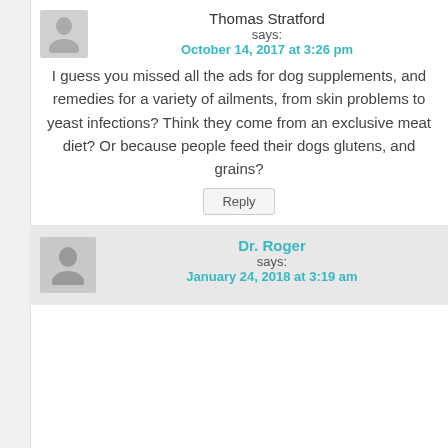Thomas Stratford says: October 14, 2017 at 3:26 pm
I guess you missed all the ads for dog supplements, and remedies for a variety of ailments, from skin problems to yeast infections? Think they come from an exclusive meat diet? Or because people feed their dogs glutens, and grains?
Reply
Dr. Roger says: January 24, 2018 at 3:19 am